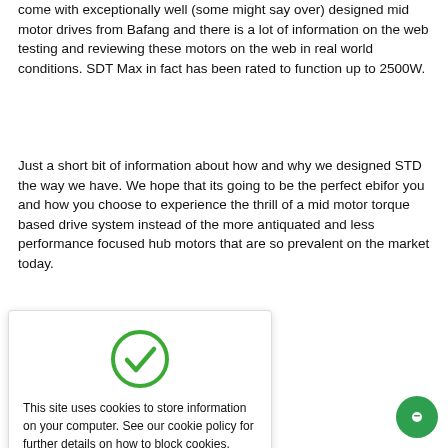come with exceptionally well (some might say over) designed mid motor drives from Bafang and there is a lot of information on the web testing and reviewing these motors on the web in real world conditions. SDT Max in fact has been rated to function up to 2500W.
Just a short bit of information about how and why we designed STD the way we have. We hope that its going to be the perfect ebifor you and how you choose to experience the thrill of a mid motor torque based drive system instead of the more antiquated and less performance focused hub motors that are so prevalent on the market today.
[Figure (other): Cookie consent dialog with green checkmark icon, text about cookies, and orange 'I am happy with this' button]